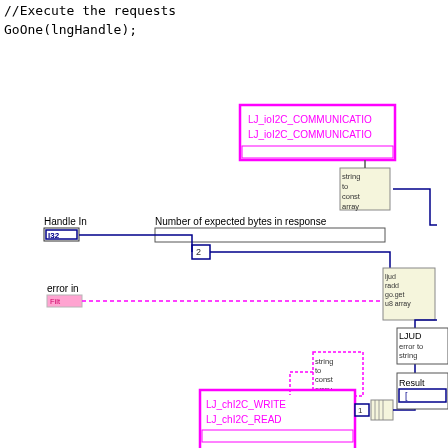//Execute the requests
GoOne(lngHandle);
[Figure (engineering-diagram): LabVIEW block diagram showing I2C communication nodes: LJ_ioI2C_COMMUNICATIO blocks (pink/magenta), string to const array converters, Handle In (I32), error in, number of expected bytes in response (value 2), LJ_chI2C_WRITE and LJ_chI2C_READ blocks, write array with value 41, initialize read array, ljud add go get u8 array node, LJUD error to string, Result [u8] output, and connecting wires.]